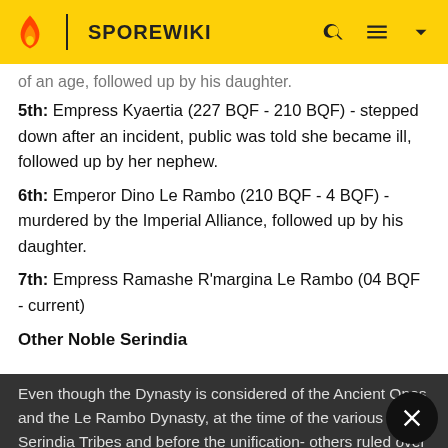SPOREWIKI
...of an age, followed up by his daughter.
5th: Empress Kyaertia (227 BQF - 210 BQF) - stepped down after an incident, public was told she became ill, followed up by her nephew.
6th: Emperor Dino Le Rambo (210 BQF - 4 BQF) - murdered by the Imperial Alliance, followed up by his daughter.
7th: Empress Ramashe R'margina Le Rambo (04 BQF - current)
Other Noble Serindia
Even though the Dynasty is considered of the Ancient Ones and the Le Rambo Dynasty, at the time of the various Serindia Tribes and before the unification- others ruled over Serindia tribes and were considered noble as well.